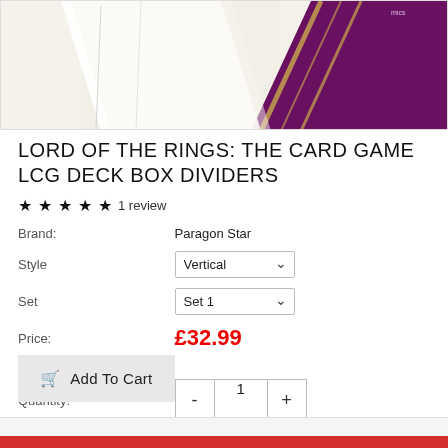[Figure (photo): Product photo showing Lord of the Rings card game deck box dividers, partially visible — white background with a purple and gold decorated box visible in the upper right corner]
LORD OF THE RINGS: THE CARD GAME LCG DECK BOX DIVIDERS
★★★★★ 1 review
Brand: Paragon Star
Style: Vertical
Set: Set 1
Price: £32.99
Quantity: 1
Add To Cart